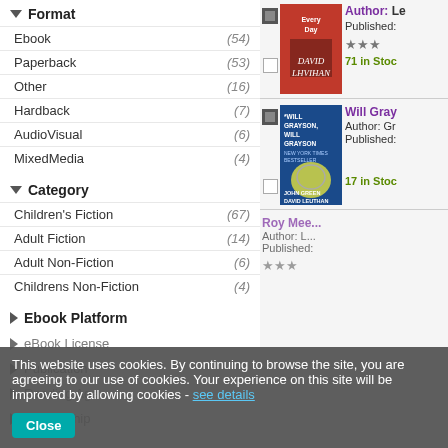Format
Ebook (54)
Paperback (53)
Other (16)
Hardback (7)
AudioVisual (6)
MixedMedia (4)
Category
Children's Fiction (67)
Adult Fiction (14)
Adult Non-Fiction (6)
Childrens Non-Fiction (4)
Ebook Platform
eBook License
Publication
Reading Age
Readership
[Figure (illustration): Book cover for 'Every Day' by David Levithan - orange/red cover]
Author: Le...
Published:
71 in Stoc...
[Figure (illustration): Book cover for 'Will Grayson, Will Grayson' by John Green and David Levithan - blue cover]
Will Gray...
Author: Gr...
Published:
17 in Stoc...
This website uses cookies. By continuing to browse the site, you are agreeing to our use of cookies. Your experience on this site will be improved by allowing cookies - see details
Close